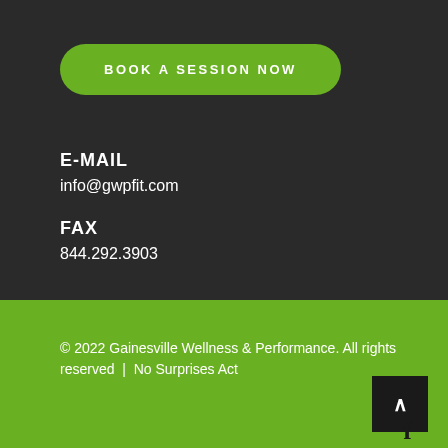BOOK A SESSION NOW
E-MAIL
info@gwpfit.com
FAX
844.292.3903
© 2022 Gainesville Wellness & Performance. All rights reserved | No Surprises Act